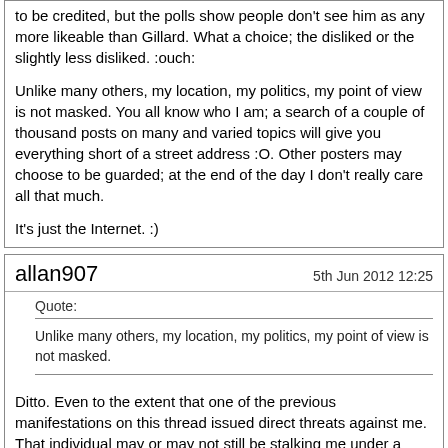to be credited, but the polls show people don't see him as any more likeable than Gillard. What a choice; the disliked or the slightly less disliked. :ouch:

Unlike many others, my location, my politics, my point of view is not masked. You all know who I am; a search of a couple of thousand posts on many and varied topics will give you everything short of a street address :O. Other posters may choose to be guarded; at the end of the day I don't really care all that much.

It's just the Internet. :)
allan907    5th Jun 2012 12:25
Quote:
Unlike many others, my location, my politics, my point of view is not masked.
Ditto. Even to the extent that one of the previous manifestations on this thread issued direct threats against me. That individual may or may not still be stalking me under a different guise but not to worry the mods have assured me that the person is gone.

But, hey ho. Everyone is entitled to their point of view - even the paid employees of the ALP who seem to be selling their nation down the gurler for 30 pieces of silver. Some stir the pot and survive; others reply